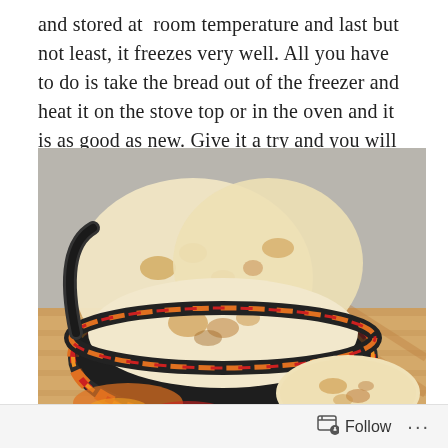and stored at room temperature and last but not least, it freezes very well. All you have to do is take the bread out of the freezer and heat it on the stove top or in the oven and it is as good as new. Give it a try and you will never buy pita bread again.
[Figure (photo): Photo of several round pita breads in a colorful woven basket (black, orange, red pattern) placed on a wooden slatted surface, with one pita bread resting outside the basket on the wood.]
Follow ...